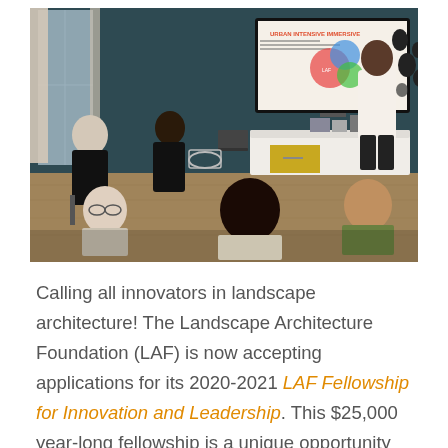[Figure (photo): Indoor presentation scene showing a man standing and presenting to a small group seated in chairs. A large screen behind him displays a slide titled 'URBAN INTENSIVE IMMERSIVE'. The room has a dark teal accent wall, wood floors, and modern furniture. Several attendees are visible from behind, with two women seated on the left side facing the presenter.]
Calling all innovators in landscape architecture! The Landscape Architecture Foundation (LAF) is now accepting applications for its 2020-2021 LAF Fellowship for Innovation and Leadership. This $25,000 year-long fellowship is a unique opportunity for mid-career and senior-level landscape architects to reflect, research